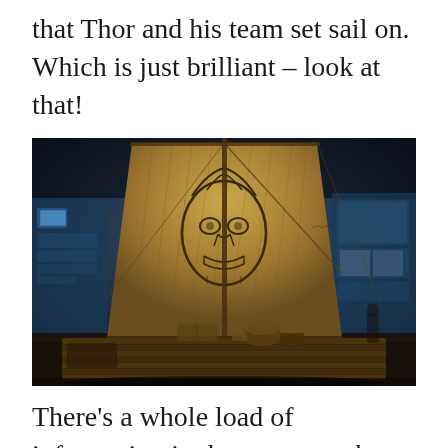that Thor and his team set sail on. Which is just brilliant – look at that!
[Figure (photo): Museum exhibit showing a large traditional raft or vessel (likely the Kon-Tiki) with a tall woven sail decorated with a carved tiki/Polynesian face design. The raft is displayed inside a darkened museum hall with blue-lit exhibition panels and photographs visible on the walls in the background.]
There's a whole load of information in the museum about Easter Island too. There's a fun